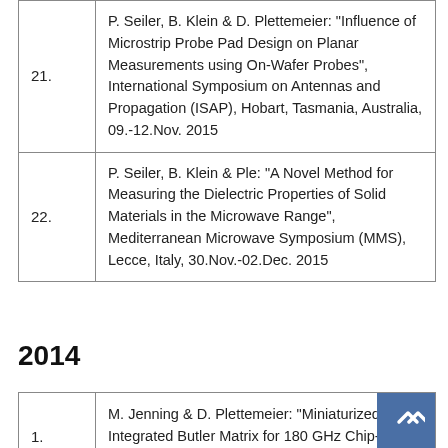| # | Reference |
| --- | --- |
| 21. | P. Seiler, B. Klein & D. Plettemeier: "Influence of Microstrip Probe Pad Design on Planar Measurements using On-Wafer Probes", International Symposium on Antennas and Propagation (ISAP), Hobart, Tasmania, Australia, 09.-12.Nov. 2015 |
| 22. | P. Seiler, B. Klein & Ple: "A Novel Method for Measuring the Dielectric Properties of Solid Materials in the Microwave Range", Mediterranean Microwave Symposium (MMS), Lecce, Italy, 30.Nov.-02.Dec. 2015 |
2014
| # | Reference |
| --- | --- |
| 1. | M. Jenning & D. Plettemeier: "Miniaturized Integrated Butler Matrix for 180 GHz Chip-to-Chip Communication" International Workshop... |